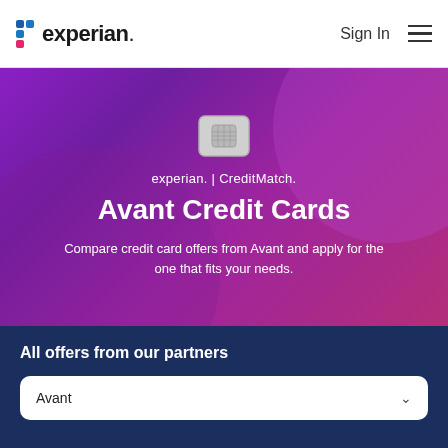experian. | Sign In
[Figure (screenshot): Experian CreditMatch hero banner with credit card chip icon, showing 'experian. | CreditMatch.' branding and 'Avant Credit Cards' headline on purple gradient background]
Avant Credit Cards
Compare credit card offers from Avant and apply for the one that fits your needs.
All offers from our partners
Avant